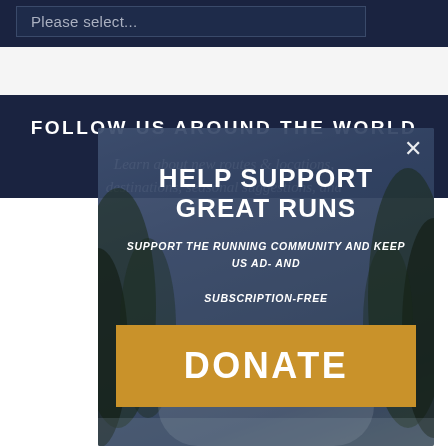Please select...
FOLLOW US AROUND THE WORLD
Learn about new routes & locations, destinations, seasonal suggestions, and
[Figure (screenshot): Modal popup overlay on a dark background with a misty forest/park photo. Contains title 'HELP SUPPORT GREAT RUNS', subtitle 'SUPPORT THE RUNNING COMMUNITY AND KEEP US AD- AND SUBSCRIPTION-FREE', and a golden DONATE button. Close X in top right.]
HELP SUPPORT GREAT RUNS
SUPPORT THE RUNNING COMMUNITY AND KEEP US AD- AND SUBSCRIPTION-FREE
DONATE